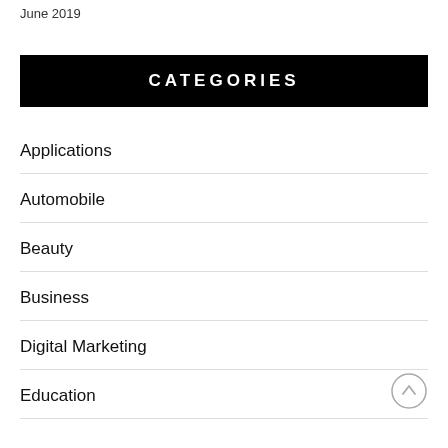June 2019
CATEGORIES
Applications
Automobile
Beauty
Business
Digital Marketing
Education